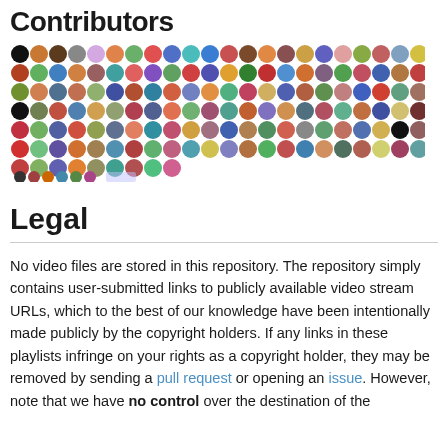Contributors
[Figure (illustration): Grid of contributor avatars - small circular profile pictures and icons arranged in rows]
Legal
No video files are stored in this repository. The repository simply contains user-submitted links to publicly available video stream URLs, which to the best of our knowledge have been intentionally made publicly by the copyright holders. If any links in these playlists infringe on your rights as a copyright holder, they may be removed by sending a pull request or opening an issue. However, note that we have no control over the destination of the